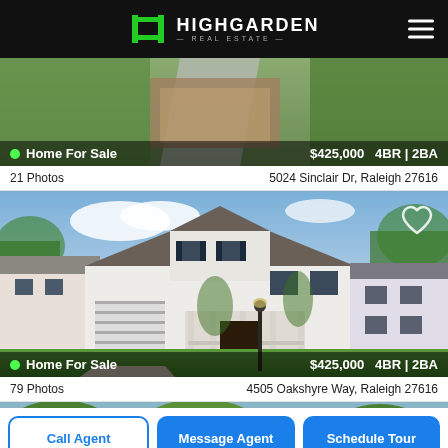HIGHGARDEN REAL ESTATE
[Figure (photo): Aerial/overhead photo of a residential home with green lawn and driveway, first listing thumbnail]
Home For Sale   $425,000   4BR | 2BA
21 Photos   5024 Sinclair Dr, Raleigh 27616
[Figure (photo): Two-story white colonial home with dark shutters, covered porch, green lawn, and white garages on either side - 4505 Oakshyre Way listing]
Home For Sale   $425,000   4BR | 2BA
79 Photos   4505 Oakshyre Way, Raleigh 27616
[Figure (photo): Partial view of a third home listing with green/grey siding]
Call Agent
Message Agent
Schedule Tour